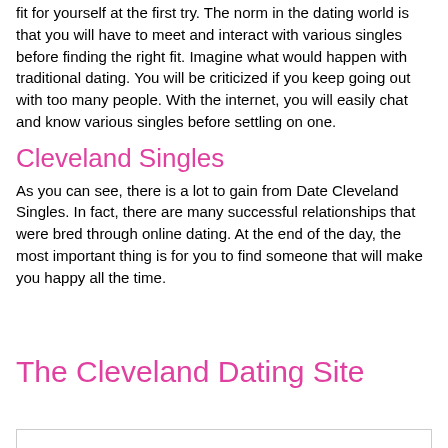fit for yourself at the first try. The norm in the dating world is that you will have to meet and interact with various singles before finding the right fit. Imagine what would happen with traditional dating. You will be criticized if you keep going out with too many people. With the internet, you will easily chat and know various singles before settling on one.
Cleveland Singles
As you can see, there is a lot to gain from Date Cleveland Singles. In fact, there are many successful relationships that were bred through online dating. At the end of the day, the most important thing is for you to find someone that will make you happy all the time.
The Cleveland Dating Site